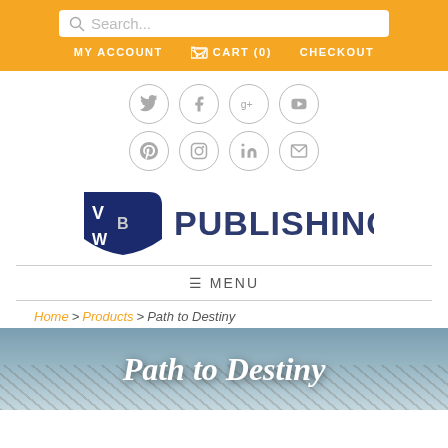Search... | MY ACCOUNT | CART (0) | CHECKOUT
[Figure (other): Social media icon circles: Twitter, Facebook, Google+, YouTube, Pinterest, Instagram, LinkedIn, Email]
[Figure (logo): VBW Publishing logo — dark blue shield shape with letters V, B, W and the word PUBLISHING in dark blue sans-serif]
≡ MENU
Home > Products > Path to Destiny
[Figure (photo): Book cover image showing 'Path to Destiny' title in white italic serif font over a nature/landscape background]